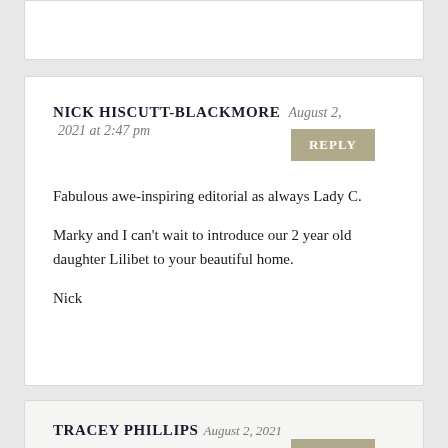NICK HISCUTT-BLACKMORE August 2, 2021 at 2:47 pm
Fabulous awe-inspiring editorial as always Lady C.

Marky and I can't wait to introduce our 2 year old daughter Lilibet to your beautiful home.

Nick
TRACEY PHILLIPS August 2, 2021